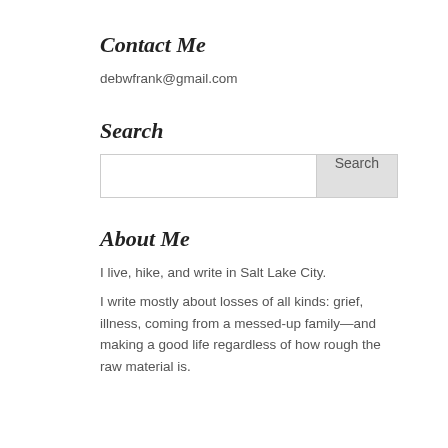Contact Me
debwfrank@gmail.com
Search
[Figure (other): Search input box with Search button]
About Me
I live, hike, and write in Salt Lake City.
I write mostly about losses of all kinds: grief, illness, coming from a messed-up family—and making a good life regardless of how rough the raw material is.